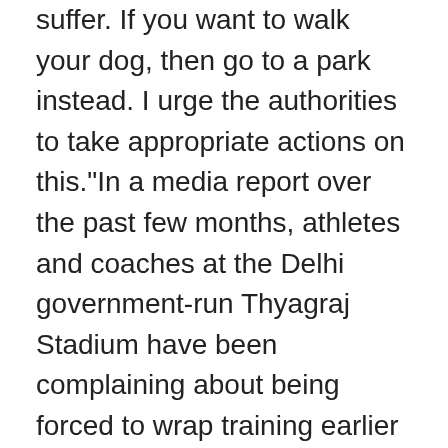suffer. If you want to walk your dog, then go to a park instead. I urge the authorities to take appropriate actions on this."In a media report over the past few months, athletes and coaches at the Delhi government-run Thyagraj Stadium have been complaining about being forced to wrap training earlier than usual, by 7 pm. The reason, according to them, is that Delhi's Principal Secretary (Revenue) Sanjeev Khirwar walks his dog at the facility for about half an hour.
A 1994 batch IAS officer, Khirwar is currently the revenue commissioner of Delhi. He is also the secretary of the